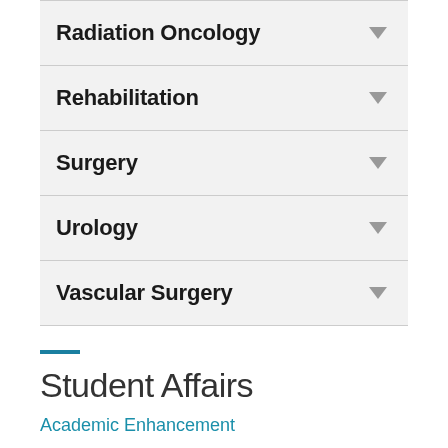Radiation Oncology
Rehabilitation
Surgery
Urology
Vascular Surgery
Student Affairs
Academic Enhancement